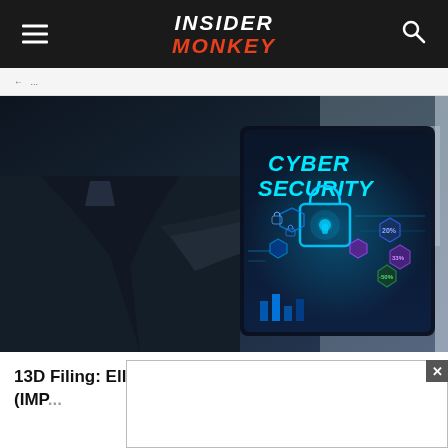INSIDER MONKEY
[Figure (photo): Person in business suit touching a digital cyber security interface screen showing a glowing padlock and 'CYBER SECURITY' text in cyan]
13D Filing: Elliott Associates, L.P. and Imperva Inc (IMPR...